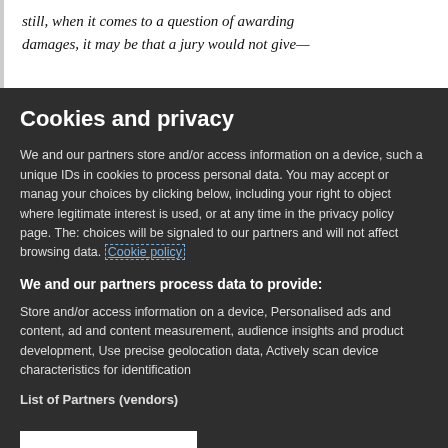still, when it comes to a question of awarding damages, it may be that a jury would not give—
Cookies and privacy
We and our partners store and/or access information on a device, such as unique IDs in cookies to process personal data. You may accept or manage your choices by clicking below, including your right to object where legitimate interest is used, or at any time in the privacy policy page. These choices will be signaled to our partners and will not affect browsing data. Cookie policy
We and our partners process data to provide:
Store and/or access information on a device, Personalised ads and content, ad and content measurement, audience insights and product development, Use precise geolocation data, Actively scan device characteristics for identification
List of Partners (vendors)
I Accept